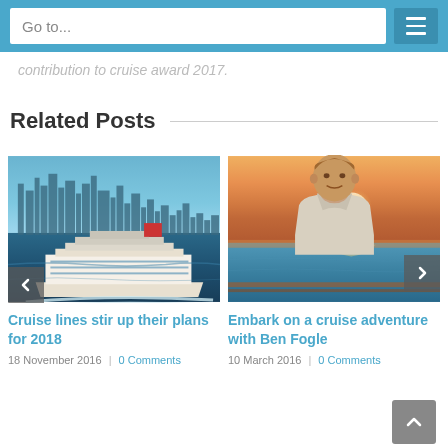Go to...
contribution to cruise award 2017.
Related Posts
[Figure (photo): Aerial photo of a large cruise ship sailing on blue ocean water with a city skyline in the background]
Cruise lines stir up their plans for 2018
18 November 2016  |  0 Comments
[Figure (photo): A smiling man standing on the deck of a cruise ship with a sunset over the ocean behind him — Ben Fogle]
Embark on a cruise adventure with Ben Fogle
10 March 2016  |  0 Comments